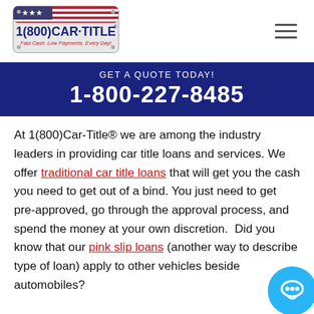[Figure (logo): 1(800)Car-Title logo with American flag design. Tagline: Fast Cash. Low Payments. Every Day!]
GET A QUOTE TODAY!
1-800-227-8485
At 1(800)Car-Title® we are among the industry leaders in providing car title loans and services. We offer traditional car title loans that will get you the cash you need to get out of a bind. You just need to get pre-approved, go through the approval process, and spend the money at your own discretion.  Did you know that our pink slip loans (another way to describe type of loan) apply to other vehicles beside automobiles?